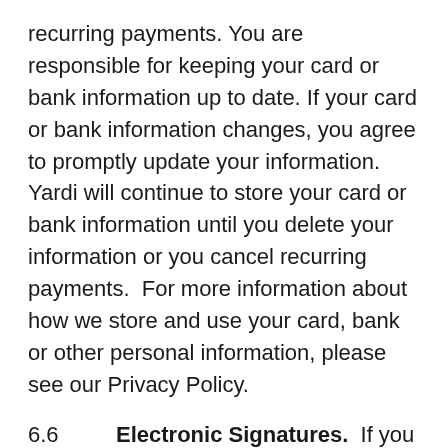recurring payments. You are responsible for keeping your card or bank information up to date. If your card or bank information changes, you agree to promptly update your information. Yardi will continue to store your card or bank information until you delete your information or you cancel recurring payments.  For more information about how we store and use your card, bank or other personal information, please see our Privacy Policy.
6.6   Electronic Signatures.  If you choose to use the electronic signature execution functionality of RENTCafé, you understand, acknowledge and agree that you have carefully reviewed the disclosure relating to use of your electronic signature to execute documents and will not